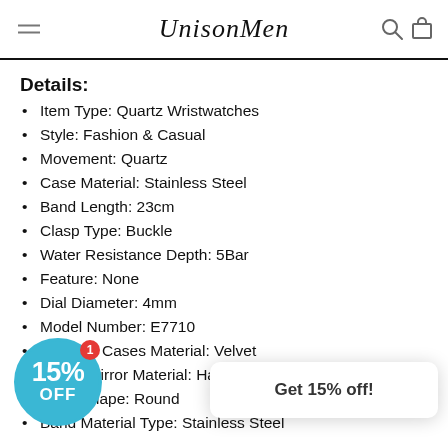UnisonMen
Details:
Item Type: Quartz Wristwatches
Style: Fashion & Casual
Movement: Quartz
Case Material: Stainless Steel
Band Length: 23cm
Clasp Type: Buckle
Water Resistance Depth: 5Bar
Feature: None
Dial Diameter: 4mm
Model Number: E7710
Boxes & Cases Material: Velvet
Watch Mirror Material: Hardlex
Case Shape: Round
Band Material Type: Stainless Steel